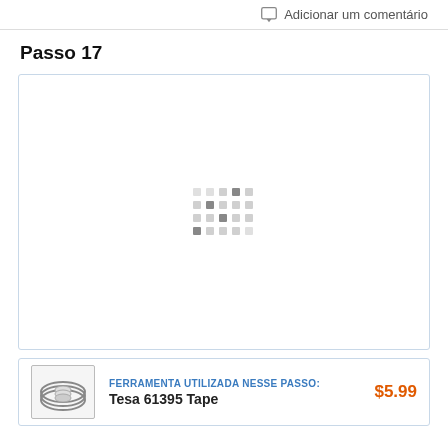Adicionar um comentário
Passo 17
[Figure (photo): Loading spinner / placeholder image area with grey dot grid pattern in center, inside a light blue-bordered box]
FERRAMENTA UTILIZADA NESSE PASSO: Tesa 61395 Tape $5.99